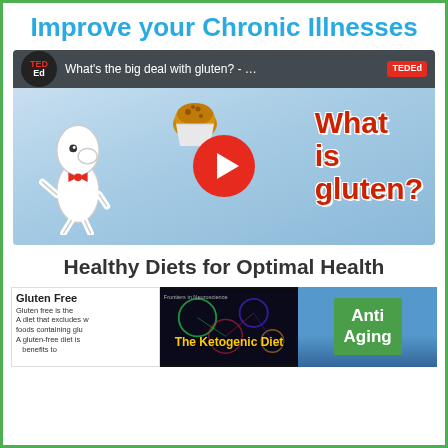Improve your Chronic Illnesses
[Figure (screenshot): YouTube video thumbnail for TED-Ed video 'What's the big deal with gluten?' showing a cartoon character, a muffin, and 'What is gluten?' text with a YouTube play button overlay]
Healthy Diets for Optimal Health
[Figure (screenshot): Three thumbnail images side by side: Gluten Free article excerpt, The Ketogenic Diet video thumbnail, and Anti Aging road sign]